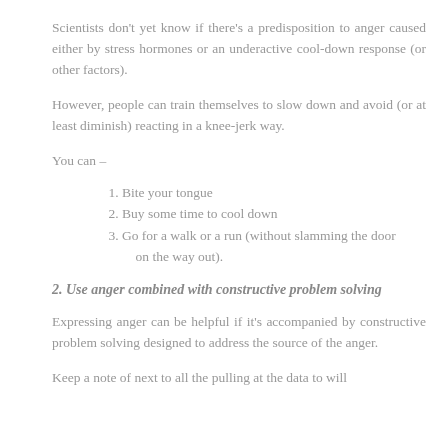Scientists don't yet know if there's a predisposition to anger caused either by stress hormones or an underactive cool-down response (or other factors).
However, people can train themselves to slow down and avoid (or at least diminish) reacting in a knee-jerk way.
You can –
Bite your tongue
Buy some time to cool down
Go for a walk or a run (without slamming the door on the way out).
2. Use anger combined with constructive problem solving
Expressing anger can be helpful if it's accompanied by constructive problem solving designed to address the source of the anger.
Keep a note of next to all the pulling at the data to will